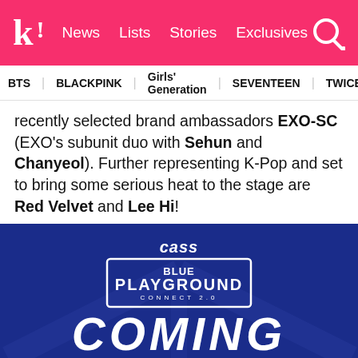k! News  Lists  Stories  Exclusives
BTS  BLACKPINK  Girls' Generation  SEVENTEEN  TWICE
recently selected brand ambassadors EXO-SC (EXO's subunit duo with Sehun and Chanyeol). Further representing K-Pop and set to bring some serious heat to the stage are Red Velvet and Lee Hi!
[Figure (photo): Cass Blue Playground Connect 2.0 event promotional image on dark blue background with 'COMING' text at bottom]